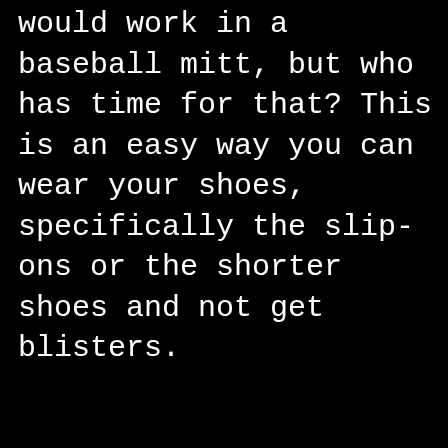heels back and forth in your spare time like you would work in a baseball mitt, but who has time for that? This is an easy way you can wear your shoes, specifically the slip-ons or the shorter shoes and not get blisters.